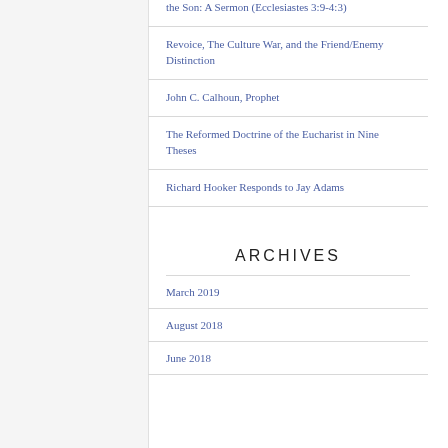the Son: A Sermon (Ecclesiastes 3:9-4:3)
Revoice, The Culture War, and the Friend/Enemy Distinction
John C. Calhoun, Prophet
The Reformed Doctrine of the Eucharist in Nine Theses
Richard Hooker Responds to Jay Adams
ARCHIVES
March 2019
August 2018
June 2018